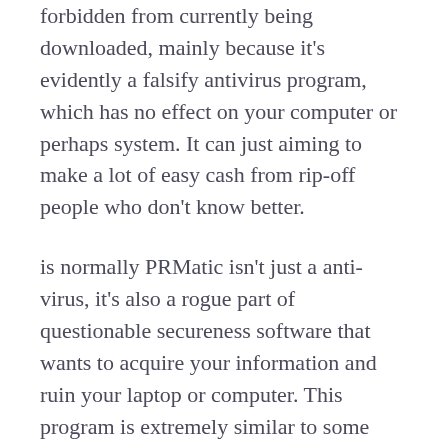forbidden from currently being downloaded, mainly because it's evidently a falsify antivirus program, which has no effect on your computer or perhaps system. It can just aiming to make a lot of easy cash from rip-off people who don't know better.
is normally PRMatic isn't just a anti-virus, it's also a rogue part of questionable secureness software that wants to acquire your information and ruin your laptop or computer. This program is extremely similar to some other viruses and really should never be allowed to run go to this web-site on your PC. You can aquire rid of iS PRMatic by the removal of it through your system using the